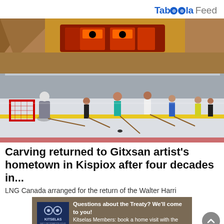Taboola Feed
[Figure (photo): Children playing floor hockey inside an indigenous community arena decorated with traditional First Nations artwork on the ceiling. A red goal net is visible on the left, and several kids hold floor hockey sticks on a rink surface with a yellow line.]
Carving returned to Gitxsan artist's hometown in Kispiox after four decades in...
LNG Canada arranged for the return of the Walter Harris
[Figure (infographic): Kitselas Treaty Information Source advertisement. Dark tan/brown background with Kitselas logo on left and text: Questions about the Treaty? We'll come to you! Kitselas Members: book a home visit with the Treaty Engagement Team! MORE INFO »]